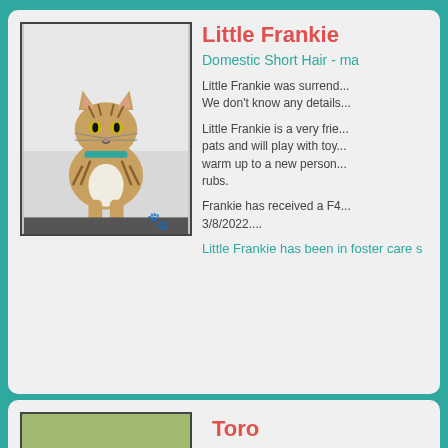[Figure (photo): Tabby cat sitting upright against white brick wall, wearing teal collar, with paw print watermark]
Little Frankie
Domestic Short Hair - mal
Little Frankie was surrend... We don't know any details...
Little Frankie is a very frie... pats and will play with toy... warm up to a new person... rubs.
Frankie has received a F4... 3/8/2022....
Little Frankie has been in foster care s
Toro
Staffy - male - 4 month